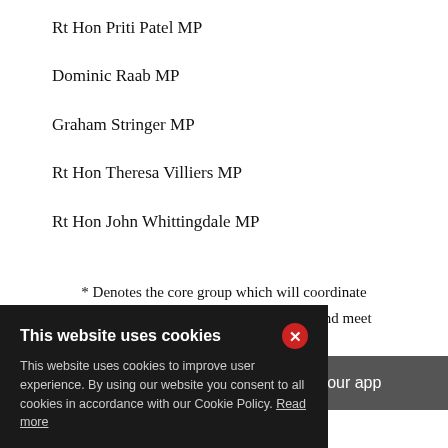Rt Hon Priti Patel MP
Dominic Raab MP
Graham Stringer MP
Rt Hon Theresa Villiers MP
Rt Hon John Whittingdale MP
* Denotes the core group which will coordinate between campaign committee meetings and meet on a daily basis.
This website uses cookies
This website uses cookies to improve user experience. By using our website you consent to all cookies in accordance with our Cookie Policy. Read more
wnload our app